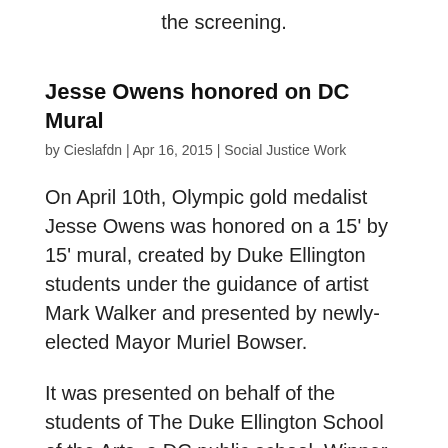the screening.
Jesse Owens honored on DC Mural
by Cieslafdn | Apr 16, 2015 | Social Justice Work
On April 10th, Olympic gold medalist Jesse Owens was honored on a 15' by 15' mural, created by Duke Ellington students under the guidance of artist Mark Walker and presented by newly-elected Mayor Muriel Bowser.
It was presented on behalf of the students of The Duke Ellington School of the Arts, a DC public school. Winner of four gold medals in the 1936 Olympics in Berlin, Owens was the son of a sharecropper and the grandson of a slave. At the height of his fame, he lived in the Michigan